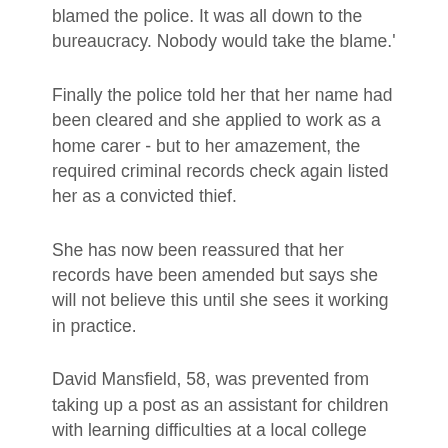blamed the police. It was all down to the bureaucracy. Nobody would take the blame.'
Finally the police told her that her name had been cleared and she applied to work as a home carer - but to her amazement, the required criminal records check again listed her as a convicted thief.
She has now been reassured that her records have been amended but says she will not believe this until she sees it working in practice.
David Mansfield, 58, was prevented from taking up a post as an assistant for children with learning difficulties at a local college after the CRB wrongly identified him as a peddler of hardcore pornography.
Mr Mansfield, from Hertford, who spent a lifetime working in the transport division of the NHS before taking early retirement, said: 'The CRB